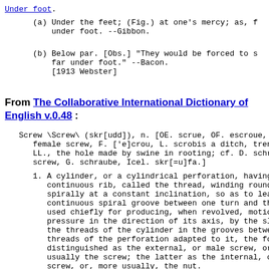Under foot.
(a) Under the feet; (Fig.) at one's mercy; as, f under foot. --Gibbon.
(b) Below par. [Obs.] "They would be forced to s far under foot." --Bacon.
[1913 Webster]
From The Collaborative International Dictionary of English v.0.48 :
Screw \Screw\ (skr[udd]), n. [OE. scrue, OF. escroue, e female screw, F. ['e]crou, L. scrobis a ditch, trenc LL., the hole made by swine in rooting; cf. D. schro screw, G. schraube, Icel. skr[=u]fa.]
1. A cylinder, or a cylindrical perforation, having continuous rib, called the thread, winding round spirally at a constant inclination, so as to leav continuous spiral groove between one turn and the used chiefly for producing, when revolved, motion pressure in the direction of its axis, by the sli the threads of the cylinder in the grooves betwee threads of the perforation adapted to it, the for distinguished as the external, or male screw, or, usually the screw; the latter as the internal, or screw, or, more usually, the nut.
[1913 Webster]